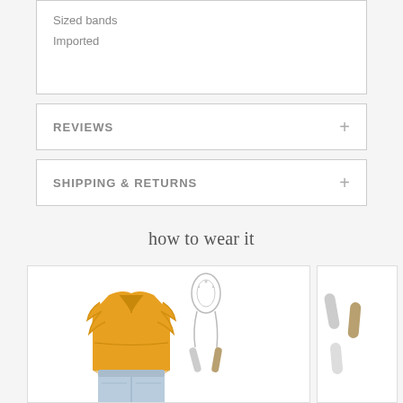Sized bands
Imported
REVIEWS
SHIPPING & RETURNS
how to wear it
[Figure (photo): Outfit flat lay showing a yellow ruffled v-neck top with light blue jeans, and a layered lariat necklace with bar pendants]
[Figure (photo): Partial view of bar earrings or hair clips in gold and silver tones]